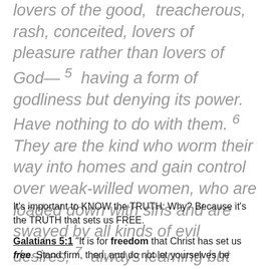lovers of the good, treacherous, rash, conceited, lovers of pleasure rather than lovers of God— 5 having a form of godliness but denying its power. Have nothing to do with them. 6 They are the kind who worm their way into homes and gain control over weak-willed women, who are loaded down with sins and are swayed by all kinds of evil desires, 7 always learning but never able to acknowledge the truth.
It's important to KNOW the TRUTH: Why? Because it's the TRUTH that sets us FREE.
Galatians 5:1 "It is for freedom that Christ has set us free. Stand firm, then, and do not let yourselves be